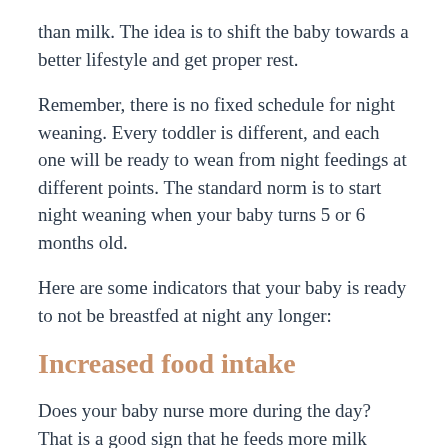than milk. The idea is to shift the baby towards a better lifestyle and get proper rest.
Remember, there is no fixed schedule for night weaning. Every toddler is different, and each one will be ready to wean from night feedings at different points. The standard norm is to start night weaning when your baby turns 5 or 6 months old.
Here are some indicators that your baby is ready to not be breastfed at night any longer:
Increased food intake
Does your baby nurse more during the day? That is a good sign that he feeds more milk during the daytime hours— which means his